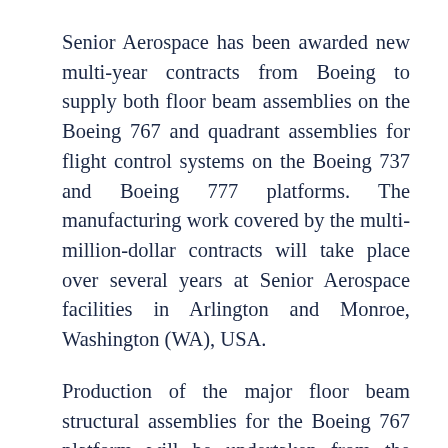Senior Aerospace has been awarded new multi-year contracts from Boeing to supply both floor beam assemblies on the Boeing 767 and quadrant assemblies for flight control systems on the Boeing 737 and Boeing 777 platforms. The manufacturing work covered by the multi-million-dollar contracts will take place over several years at Senior Aerospace facilities in Arlington and Monroe, Washington (WA), USA.
Production of the major floor beam structural assemblies for the Boeing 767 platform will be undertaken from the Senior Aerospace AMT facility in Arlington, WA, USA with deliveries commencing January 2022. The quadrant assemblies for the Boeing 737 Elevator Control and Boeing 777 Horizontal Stabiliser flight control system will commence in Q1 2022 from the Senior Aerospace Damar facility in Monroe, WA, USA